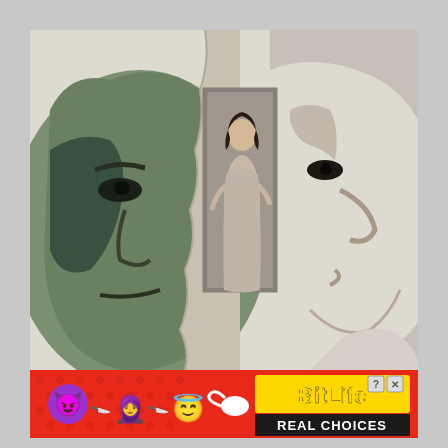[Figure (illustration): A painted/illustrated collage image showing two large male faces (one greenish-toned on the left looking somber, one pale on the right in profile), with a smaller woman in a doorway between them, rendered in a vintage painterly style against a light background.]
[Figure (infographic): Advertisement banner for BitLife game app on a red background. Shows devil emoji, knife emoji, woman with knife emoji, angel emoji, sperm icon, and the BitLife logo in yellow with 'REAL CHOICES' text on black background. Has close/help buttons in top right.]